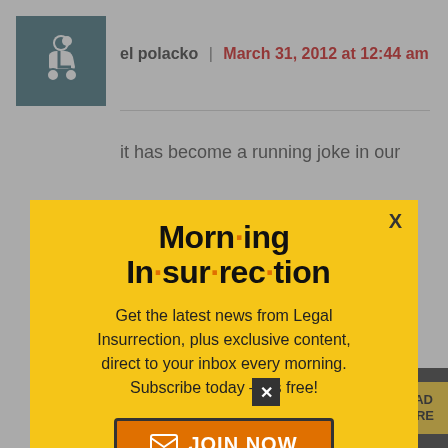[Figure (screenshot): User avatar icon showing wheelchair accessibility symbol on teal/dark background]
el polacko | March 31, 2012 at 12:44 am
it has become a running joke in our
[Figure (screenshot): Morning Insurrection newsletter popup modal with yellow background, title 'Morn·ing In·sur·rec·tion', subscription text, and JOIN NOW button]
cotton candy. I would put more sto... the martin family account of the teen's
[Figure (screenshot): THE PERSPECTIVE advertisement bar at bottom with 'SEE WHAT YOU'RE MISSING' and READ MORE button]